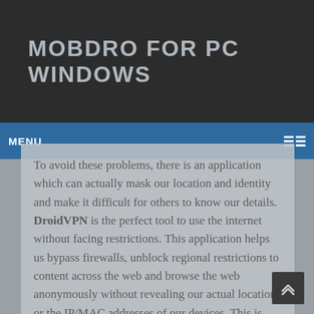MOBDRO FOR PC WINDOWS
MENU
To avoid these problems, there is an application which can actually mask our location and identity and make it difficult for others to know our details. DroidVPN is the perfect tool to use the internet without facing restrictions. This application helps us bypass firewalls, unblock regional restrictions to content across the web and browse the web anonymously without revealing our actual location or the IP/MAC addresses of our devices. This is done by redirecting all our web traffic through their servers instead of us directly connecting to the website of our choice.